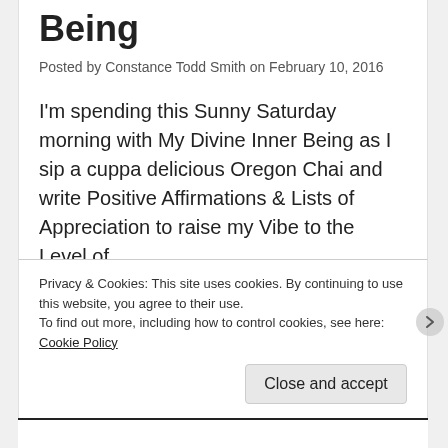Being
Posted by Constance Todd Smith on February 10, 2016
I'm spending this Sunny Saturday morning with My Divine Inner Being as I sip a cuppa delicious Oregon Chai and write Positive Affirmations & Lists of Appreciation to raise my Vibe to the Level of …
68 SECONDS OF FOCUSED THOUGHT, ABRAHAM PROCESSES, ABRAHAM-HICKS, ALIGNMENT, ALLOWING, CO-CREATION, DELIBERATE CREATION, INNER BEING, LAW OF ATTRACTION
Privacy & Cookies: This site uses cookies. By continuing to use this website, you agree to their use.
To find out more, including how to control cookies, see here: Cookie Policy
Close and accept